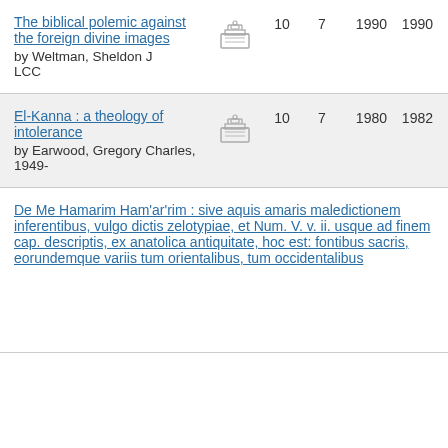| Title/Author | Icon | 10 | 7 | Year1 | Year2 |
| --- | --- | --- | --- | --- | --- |
| The biblical polemic against the foreign divine images by Weltman, Sheldon J LCC | [icon] | 10 | 7 | 1990 | 1990 |
| El-Kanna : a theology of intolerance by Earwood, Gregory Charles, 1949- | [icon] | 10 | 7 | 1980 | 1982 |
| De Me Hamarim Ham'ar'rim : sive aquis amaris maledictionem inferentibus, vulgo dictis zelotypiae, et Num. V. v. ii. usque ad finem cap. descriptis, ex anatolica antiquitate, hoc est: fontibus sacris, eorundemque variis tum orientalibus, tum occidentalibus | [icon] |  |  |  |  |